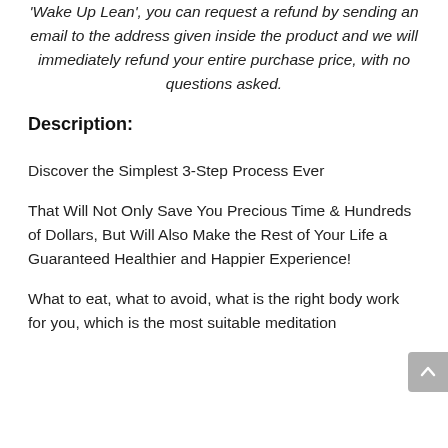Wake Up Lean', you can request a refund by sending an email to the address given inside the product and we will immediately refund your entire purchase price, with no questions asked.
Description:
Discover the Simplest 3-Step Process Ever
That Will Not Only Save You Precious Time & Hundreds of Dollars, But Will Also Make the Rest of Your Life a Guaranteed Healthier and Happier Experience!
What to eat, what to avoid, what is the right body work for you, which is the most suitable meditation